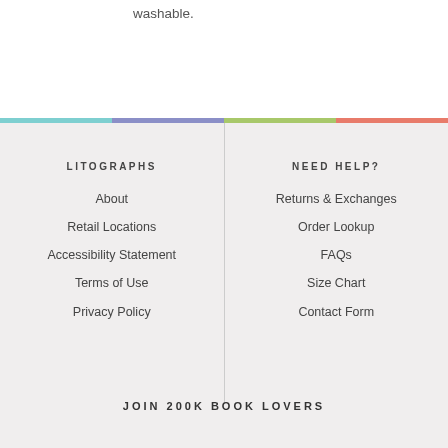washable.
LITOGRAPHS
About
Retail Locations
Accessibility Statement
Terms of Use
Privacy Policy
NEED HELP?
Returns & Exchanges
Order Lookup
FAQs
Size Chart
Contact Form
JOIN 200K BOOK LOVERS